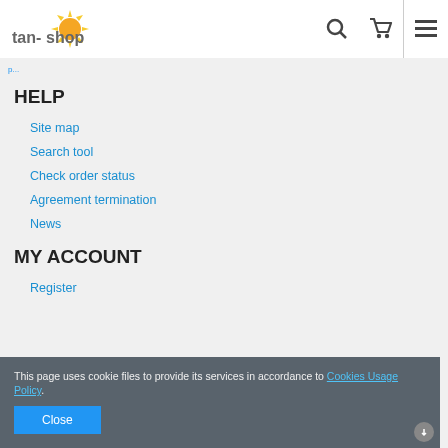tan-shop
HELP
Site map
Search tool
Check order status
Agreement termination
News
MY ACCOUNT
Register
This page uses cookie files to provide its services in accordance to Cookies Usage Policy.